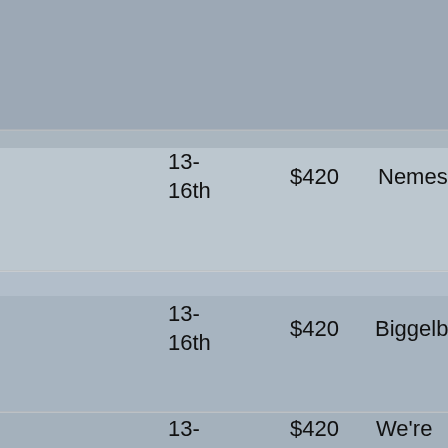[Figure (photo): Background photo of a gaming/esports event venue with people at tables, repeated across three row sections]
| Place | Prize | Team |
| --- | --- | --- |
| 13-16th | $420 | Nemesis |
| 13-16th | $420 | Biggelback |
| 13-16th | $420 | We're Stripes Right? |